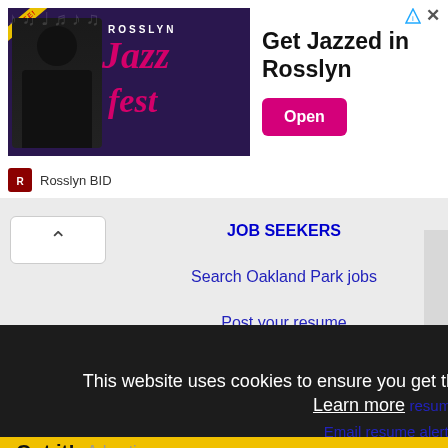[Figure (screenshot): Advertisement banner for Rosslyn Jazz Fest showing a musician with text 'Get Jazzed in Rosslyn' and an Open button, sponsored by Rosslyn BID]
JOB SEEKERS
Search Oakland Park jobs
Post your resume
Email job alerts
Register / Log in
This website uses cookies to ensure you get the best experience on our website.
Learn more
Search resumes
Email resume alerts
Got it!  Advertise